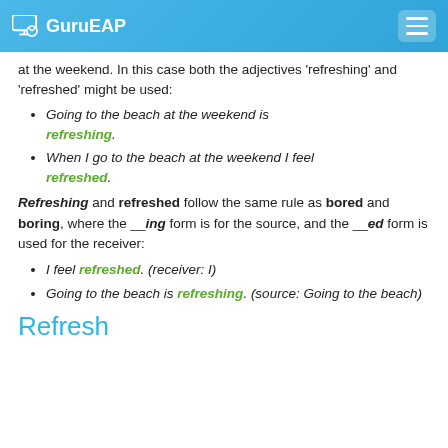GuruEAP
at the weekend. In this case both the adjectives 'refreshing' and 'refreshed' might be used:
Going to the beach at the weekend is refreshing.
When I go to the beach at the weekend I feel refreshed.
Refreshing and refreshed follow the same rule as bored and boring, where the __ing form is for the source, and the __ed form is used for the receiver:
I feel refreshed. (receiver: I)
Going to the beach is refreshing. (source: Going to the beach)
Refresh